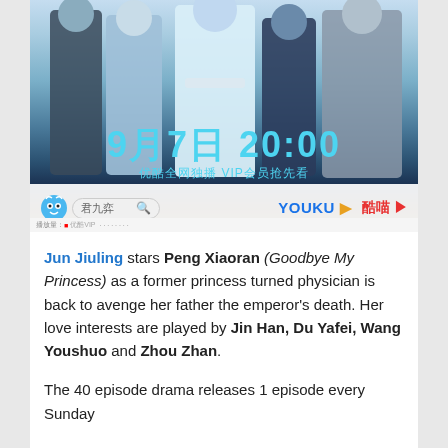[Figure (photo): Chinese historical drama promotional image showing cast members in traditional Hanfu costumes in blue and white. Text overlay shows '9月7日 20:00' (September 7, 20:00) and '优酷全网独播 VIP会员抢先看' (Youku exclusive broadcast, VIP members watch first). Bottom bar shows Youku and 酷喵 streaming platform logos with a search box.]
Jun Jiuling stars Peng Xiaoran (Goodbye My Princess) as a former princess turned physician is back to avenge her father the emperor's death. Her love interests are played by Jin Han, Du Yafei, Wang Youshuo and Zhou Zhan.

The 40 episode drama releases 1 episode every Sunday